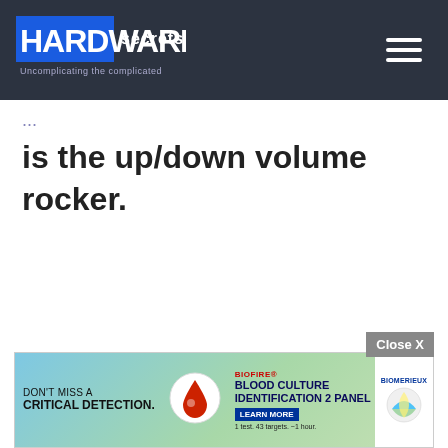Hardware Secrets — Uncomplicating the complicated
is the up/down volume rocker.
[Figure (screenshot): Advertisement banner: DON'T MISS A CRITICAL DETECTION. BIOFIRE BLOOD CULTURE IDENTIFICATION 2 PANEL — LEARN MORE — bioMérieux logo. Close X button above banner.]